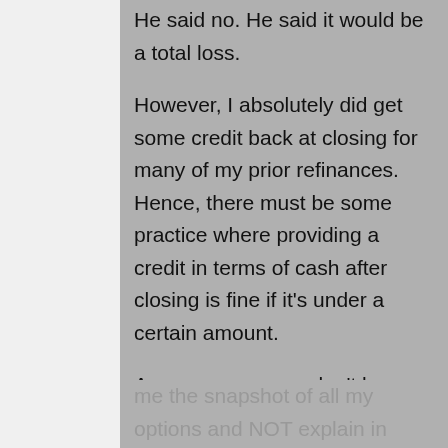He said no. He said it would be a total loss.
However, I absolutely did get some credit back at closing for many of my prior refinances. Hence, there must be some practice where providing a credit in terms of cash after closing is fine if it's under a certain amount.
As consumers, we don't know exactly what all the fees and credits are behind the scenes. But this mortgage officer was very transparent and sent me the snapshot of all my options and NOT explain in detail what happens.